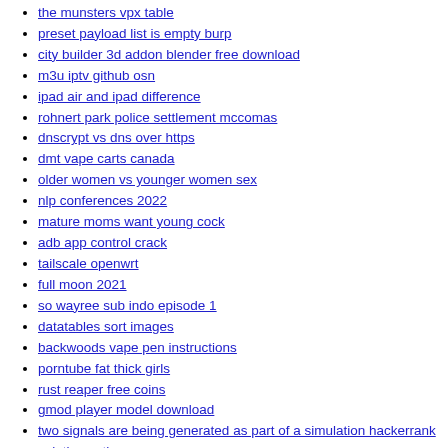pussy and the mouse
the munsters vpx table
preset payload list is empty burp
city builder 3d addon blender free download
m3u iptv github osn
ipad air and ipad difference
rohnert park police settlement mccomas
dnscrypt vs dns over https
dmt vape carts canada
older women vs younger women sex
nlp conferences 2022
mature moms want young cock
adb app control crack
tailscale openwrt
full moon 2021
so wayree sub indo episode 1
datatables sort images
backwoods vape pen instructions
porntube fat thick girls
rust reaper free coins
gmod player model download
two signals are being generated as part of a simulation hackerrank solution python
violetta channel model
roblox brookhaven hack script